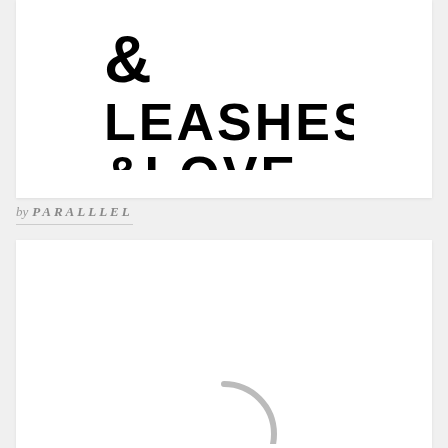[Figure (logo): Leashes & Love logo with large ampersand and bold text on white card background]
by PARALLLEL
[Figure (illustration): White card with a partial loading/spinner circle icon visible at the bottom]